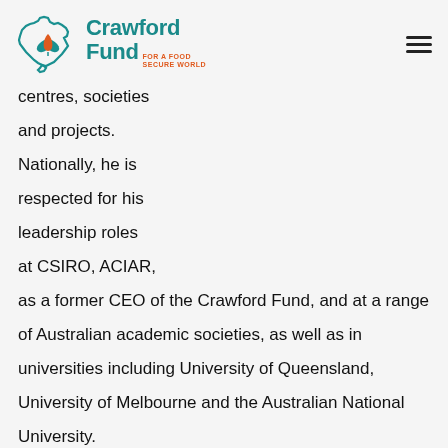Crawford Fund FOR A FOOD SECURE WORLD
centres, societies and projects. Nationally, he is respected for his leadership roles at CSIRO, ACIAR, as a former CEO of the Crawford Fund, and at a range of Australian academic societies, as well as in universities including University of Queensland, University of Melbourne and the Australian National University.
His work in agronomy, plant breeding, sustainable management systems and genetic resource technology, and in the leadership of projects and institutions has provided him with an opportunity to